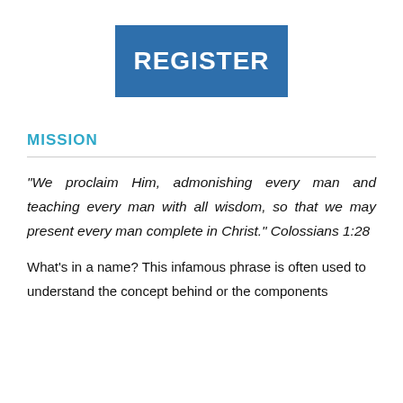[Figure (other): Blue rectangle button with white bold text reading REGISTER]
MISSION
“We proclaim Him, admonishing every man and teaching every man with all wisdom, so that we may present every man complete in Christ.” Colossians 1:28
What’s in a name? This infamous phrase is often used to understand the concept behind or the components